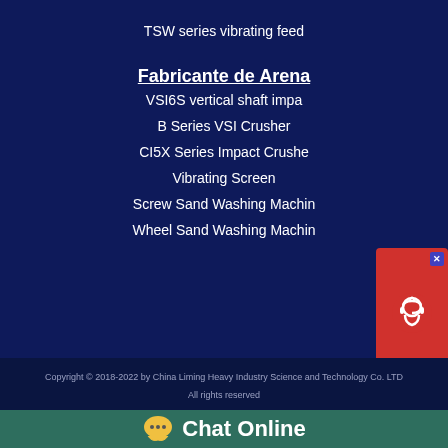TSW series vibrating feed
Fabricante de Arena
VSI6S vertical shaft impa
B Series VSI Crusher
CI5X Series Impact Crushe
Vibrating Screen
Screw Sand Washing Machin
Wheel Sand Washing Machin
[Figure (infographic): Chat Now widget with red background, headset icon, and dark bottom section with 'Chat Now' text]
Copyright © 2018-2022 by China Liming Heavy Industry Science and Technology Co. LTD
All rights reserved
[Figure (infographic): Green Chat Online bar with yellow chat bubble icon and white 'Chat Online' text]